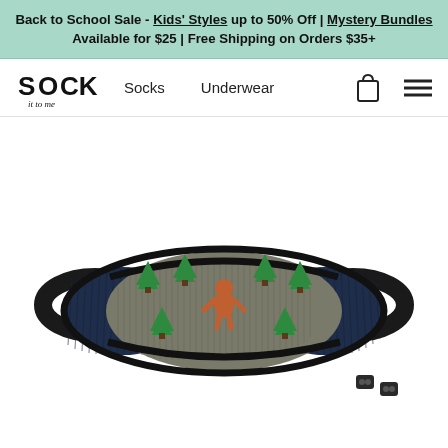Back to School Sale - Kids' Styles up to 50% Off | Mystery Bundles Available for $25 | Free Shipping on Orders $35+
[Figure (screenshot): Navigation bar with Sock It To Me logo, Socks and Underwear links, shopping bag icon, and hamburger menu icon]
[Figure (photo): A face mask featuring a Bigfoot/Sasquatch design with green trees on a grey textured center panel, dark navy ribbed side panels, and black ear loops. Two small black cord adjusters shown at bottom right.]